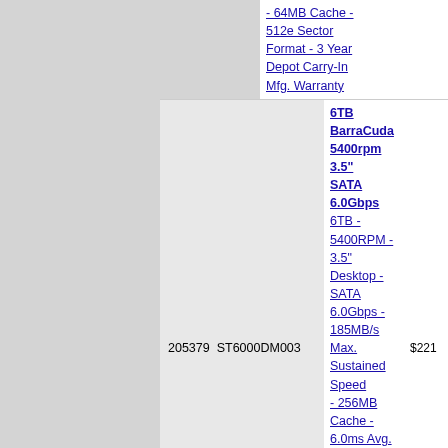| ID | Model | Description | Price |
| --- | --- | --- | --- |
|  |  | - 64MB Cache - 512e Sector Format - 3 Year Depot Carry-In Mfg. Warranty |  |
| 205379 | ST6000DM003 | 6TB BarraCuda 5400rpm 3.5" SATA 6.0Gbps 6TB - 5400RPM - 3.5" Desktop - SATA 6.0Gbps - 185MB/s Max. Sustained Speed - 256MB Cache - 6.0ms Avg. Latency - 512e Sector Format - 2 Year Depot Carry-In Mfg. Warranty | $221 |
| 227042 | ST6000NE000 | 6TB IronWolf Pro NAS HDD 7200rpm 3.5" SATA 6.0Gbps 6TB - 7200RPM - 3.5" Enterprise NAS - SATA 6.0Gbps - 214MB/s Max. Sustained Speed | $266 |